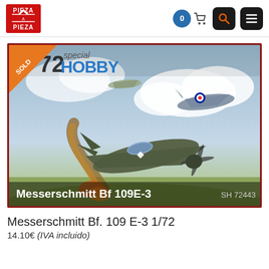[Figure (logo): Pieza a Pieza logo — red square with white text and triangle/mountain graphic]
[Figure (screenshot): Navigation icons: cart with 0 badge, search button, menu button]
[Figure (photo): Special Hobby 1/72 scale model kit box art showing Messerschmitt Bf 109E-3 in aerial combat with French aircraft, clouds and landscape below. Text on box: 'special hobby', '72', 'Messerschmitt Bf 109E-3', 'SH 72443'. SOLD banner in top-left corner.]
Messerschmitt Bf. 109 E-3 1/72
14.10€ (IVA incluido)